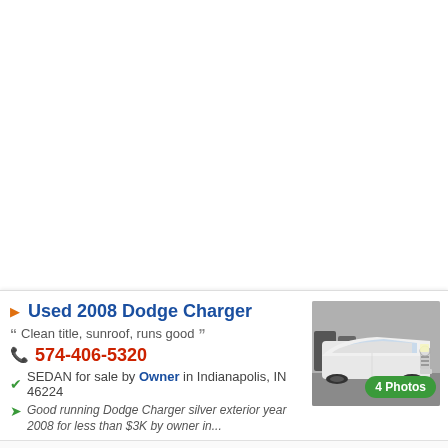Used 2008 Dodge Charger
Clean title, sunroof, runs good
574-406-5320
SEDAN for sale by Owner in Indianapolis, IN 46224
Good running Dodge Charger silver exterior year 2008 for less than $3K by owner in...
[Figure (photo): Front view of a white 2008 Dodge Charger sedan]
4 Photos
PRICE $2,500   COLOR Gray   MILES 135,000